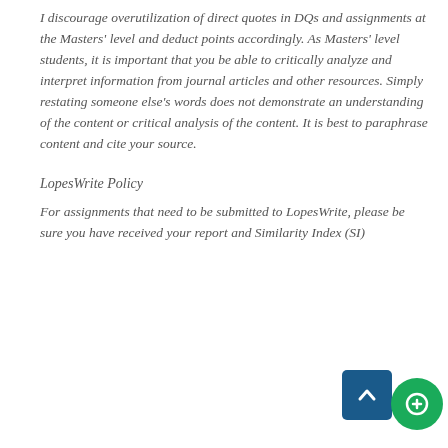I discourage overutilization of direct quotes in DQs and assignments at the Masters' level and deduct points accordingly. As Masters' level students, it is important that you be able to critically analyze and interpret information from journal articles and other resources. Simply restating someone else's words does not demonstrate an understanding of the content or critical analysis of the content. It is best to paraphrase content and cite your source.
LopesWrite Policy
For assignments that need to be submitted to LopesWrite, please be sure you have received your report and Similarity Index (SI)